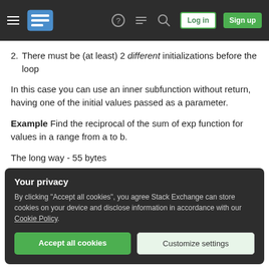Stack Exchange navigation bar with logo, help, chat, search, log in, sign up
2. There must be (at least) 2 different initializations before the loop
In this case you can use an inner subfunction without return, having one of the initial values passed as a parameter.
Example Find the reciprocal of the sum of exp function for values in a range from a to b.
The long way - 55 bytes
Your privacy
By clicking "Accept all cookies", you agree Stack Exchange can store cookies on your device and disclose information in accordance with our Cookie Policy.
Accept all cookies
Customize settings